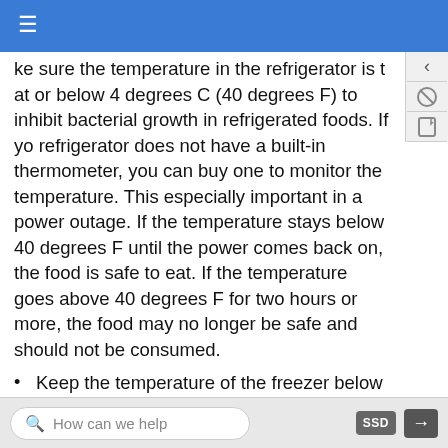Navigation bar with hamburger menu
ke sure the temperature in the refrigerator is t at or below 4 degrees C (40 degrees F) to inhibit bacterial growth in refrigerated foods. If yo refrigerator does not have a built-in thermometer, you can buy one to monitor the temperature. This especially important in a power outage. If the temperature stays below 40 degrees F until the power comes back on, the food is safe to eat. If the temperature goes above 40 degrees F for two hours or more, the food may no longer be safe and should not be consumed.
Keep the temperature of the freezer below 18 degrees C (0 degrees F). Foods frozen at this temperature will keep indefinitely, although they may gradually deteriorate in quality.
Do not thaw foods at room temperature. Freezing
How can we help   SSD